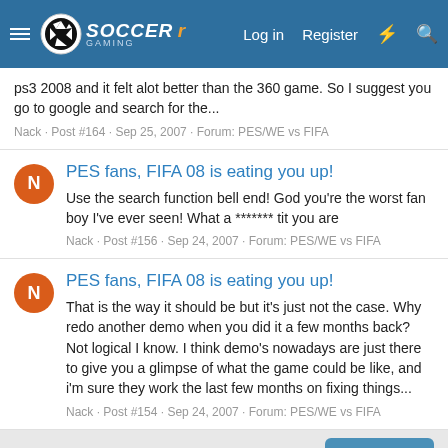Soccer Gaming — Log in  Register
ps3 2008 and it felt alot better than the 360 game. So I suggest you go to google and search for the...
Nack · Post #164 · Sep 25, 2007 · Forum: PES/WE vs FIFA
PES fans, FIFA 08 is eating you up!
Use the search function bell end! God you're the worst fan boy I've ever seen! What a ******* tit you are
Nack · Post #156 · Sep 24, 2007 · Forum: PES/WE vs FIFA
PES fans, FIFA 08 is eating you up!
That is the way it should be but it's just not the case. Why redo another demo when you did it a few months back? Not logical I know. I think demo's nowadays are just there to give you a glimpse of what the game could be like, and i'm sure they work the last few months on fixing things...
Nack · Post #154 · Sep 24, 2007 · Forum: PES/WE vs FIFA